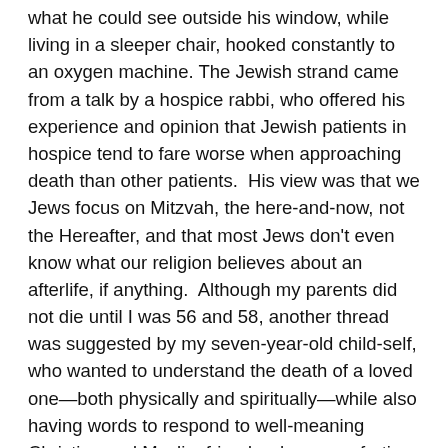what he could see outside his window, while living in a sleeper chair, hooked constantly to an oxygen machine. The Jewish strand came from a talk by a hospice rabbi, who offered his experience and opinion that Jewish patients in hospice tend to fare worse when approaching death than other patients.  His view was that we Jews focus on Mitzvah, the here-and-now, not the Hereafter, and that most Jews don't even know what our religion believes about an afterlife, if anything.  Although my parents did not die until I was 56 and 58, another thread was suggested by my seven-year-old child-self, who wanted to understand the death of a loved one—both physically and spiritually—while also having words to respond to well-meaning Christian and Muslim friends whose comforting promises did not ring true for me, a Jewish child.